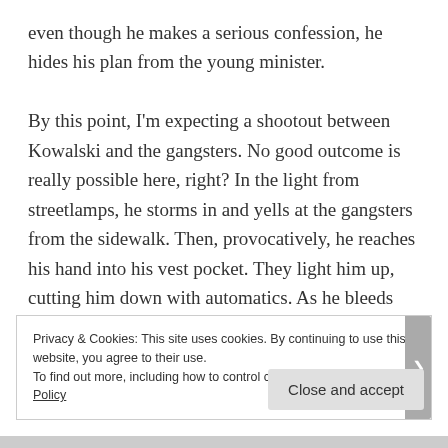even though he makes a serious confession, he hides his plan from the young minister.

By this point, I'm expecting a shootout between Kowalski and the gangsters. No good outcome is really possible here, right? In the light from streetlamps, he storms in and yells at the gangsters from the sidewalk. Then, provocatively, he reaches his hand into his vest pocket. They light him up, cutting him down with automatics. As he bleeds out, the watcher learns Kowalski was unarmed the
Privacy & Cookies: This site uses cookies. By continuing to use this website, you agree to their use.
To find out more, including how to control cookies, see here: Cookie Policy
Close and accept